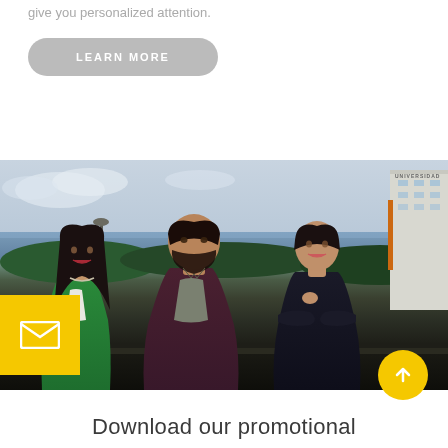give you personalized attention.
LEARN MORE
[Figure (photo): Three professionals (two women and one man) standing outdoors in front of a university building with ocean/sea in the background. Woman on left wears a green blazer, man in center wears dark burgundy jacket, woman on right wears black top.]
Download our promotional